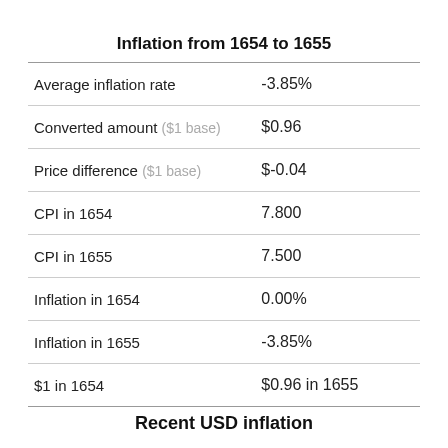|  |  |
| --- | --- |
| Average inflation rate | -3.85% |
| Converted amount ($1 base) | $0.96 |
| Price difference ($1 base) | $-0.04 |
| CPI in 1654 | 7.800 |
| CPI in 1655 | 7.500 |
| Inflation in 1654 | 0.00% |
| Inflation in 1655 | -3.85% |
| $1 in 1654 | $0.96 in 1655 |
Recent USD inflation